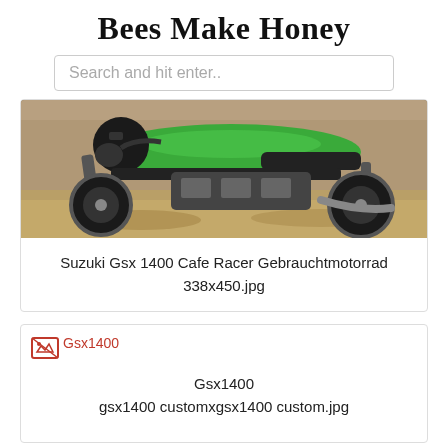Bees Make Honey
Search and hit enter..
[Figure (photo): Green Suzuki GSX 1400 cafe racer motorcycle parked outdoors]
Suzuki Gsx 1400 Cafe Racer Gebrauchtmotorrad
338x450.jpg
[Figure (photo): Broken image placeholder labeled Gsx1400]
Gsx1400
gsx1400 customxgsx1400 custom.jpg
[Figure (photo): Partial view of a cafe racer motorcycle with 'Cafe Racer' text watermark]